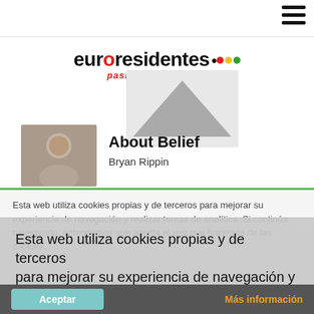[Figure (logo): Euroresidentes logo with colored dots and tagline 'pasión por la vida']
[Figure (photo): Gray triangle placeholder image in header area]
About Belief
Bryan Rippin
Esta web utiliza cookies propias y de terceros para mejorar su experiencia de navegación y realizar tareas de analítica. Más información
Esta web utiliza cookies propias y de terceros para mejorar su experiencia de navegación y realizar tareas de analítica. Si continúa navegando, entendemos que acepta el uso que hacemos de las cookies.
Acepto
Aceptar
Más información